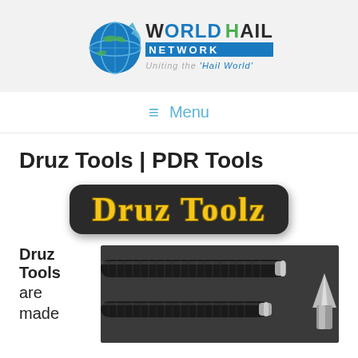[Figure (logo): World Hail Network logo with globe graphic and text 'WORLD HAIL NETWORK Uniting the Hail World']
≡  Menu
Druz Tools | PDR Tools
[Figure (logo): Druz Toolz badge — dark rounded rectangle with yellow gothic-style text reading 'Druz Toolz']
Druz Tools are made
[Figure (photo): Photo of PDR tools — black carbon fiber rods and a metal tip on a dark surface]